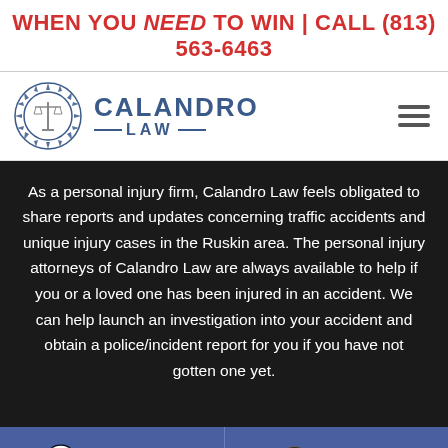WHEN YOU NEED TO WIN | CALL (813) 563-6463
[Figure (logo): Calandro Law logo with scales of justice emblem in blue/grey starburst, text reads CALANDRO LAW]
As a personal injury firm, Calandro Law feels obligated to share reports and updates concerning traffic accidents and unique injury cases in the Ruskin area. The personal injury attorneys of Calandro Law are always available to help if you or a loved one has been injured in an accident. We can help launch an investigation into your accident and obtain a police/incident report for you if you have not gotten one yet.
LIVE CHAT | TEXT US